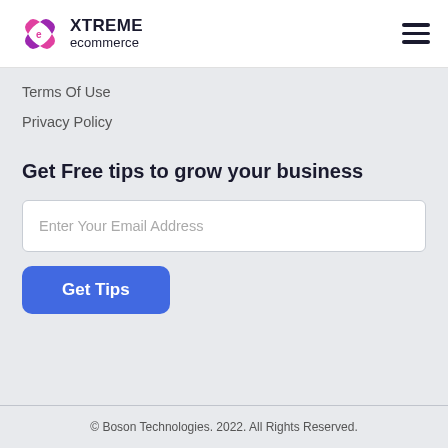XTREME ecommerce
Terms Of Use
Privacy Policy
Get Free tips to grow your business
Enter Your Email Address
Get Tips
© Boson Technologies. 2022. All Rights Reserved.